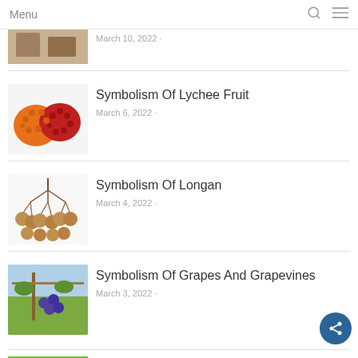Menu
March 10, 2022
Symbolism Of Lychee Fruit
March 6, 2022
Symbolism Of Longan
March 4, 2022
Symbolism Of Grapes And Grapevines
March 3, 2022
Symbolism Of Cabbage Vegetab...
March 1, 2022